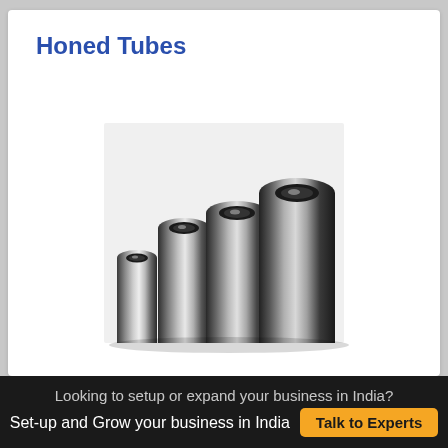Honed Tubes
[Figure (photo): Four honed steel tubes of increasing height and diameter arranged side by side, showing polished inner bores, on a white background.]
Looking to setup or expand your business in India?
Set-up and Grow your business in India
Talk to Experts